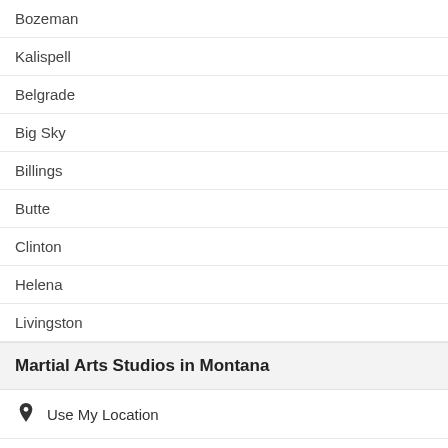Bozeman
Kalispell
Belgrade
Big Sky
Billings
Butte
Clinton
Helena
Livingston
Martial Arts Studios in Montana
Use My Location
Flathead County